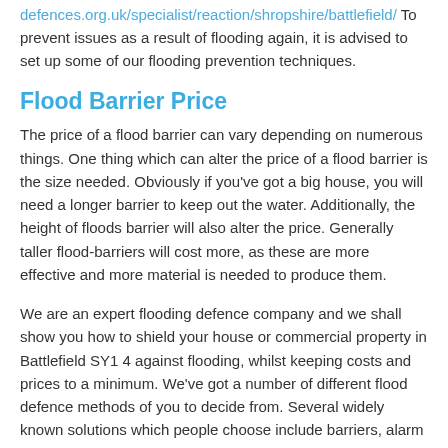defences.org.uk/specialist/reaction/shropshire/battlefield/ To prevent issues as a result of flooding again, it is advised to set up some of our flooding prevention techniques.
Flood Barrier Price
The price of a flood barrier can vary depending on numerous things. One thing which can alter the price of a flood barrier is the size needed. Obviously if you've got a big house, you will need a longer barrier to keep out the water. Additionally, the height of floods barrier will also alter the price. Generally taller flood-barriers will cost more, as these are more effective and more material is needed to produce them.
We are an expert flooding defence company and we shall show you how to shield your house or commercial property in Battlefield SY1 4 against flooding, whilst keeping costs and prices to a minimum. We've got a number of different flood defence methods of you to decide from. Several widely known solutions which people choose include barriers, alarm systems, flood doors along with sand bags. Having a number of different possibilities means you can choose one that will be best for you. Our specialists will install